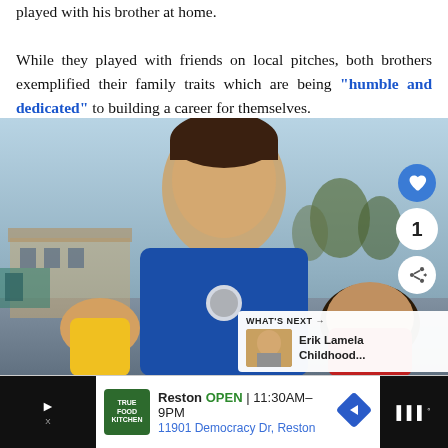played with his brother at home.

While they played with friends on local pitches, both brothers exemplified their family traits which are being "humble and dedicated" to building a career for themselves.
[Figure (photo): Childhood photo of a boy wearing a blue Real Madrid jersey, posing with other children outdoors. Interface overlays show a heart button, share button, number 1, and a 'What's Next' panel showing Erik Lamela Childhood...]
[Figure (infographic): Advertisement bar: True Food Kitchen, Reston OPEN 11:30AM-9PM, 11901 Democracy Dr, Reston, with navigation arrow icon]